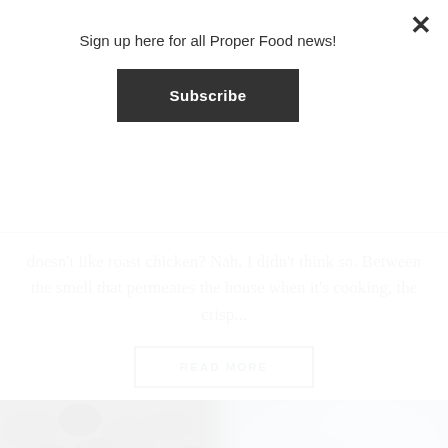Sign up here for all Proper Food news!
Subscribe
doesn't like roast chicken? Nah, I didn't think so. Between the smell that permeates the house when it's cooking, the crisp...
READ MORE
[Figure (photo): A banner image showing rocks/stones on the left and a misty/foggy blue scene on the right]